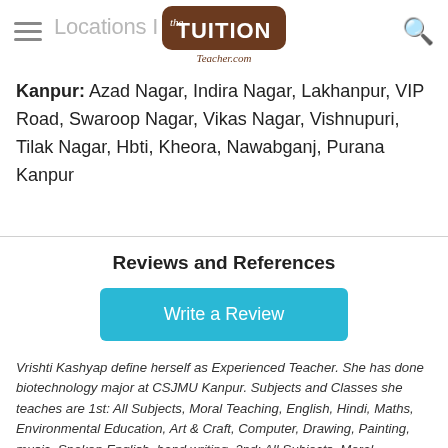Locations I present: — [TUITION Teacher.com logo] — [search icon]
Kanpur: Azad Nagar, Indira Nagar, Lakhanpur, VIP Road, Swaroop Nagar, Vikas Nagar, Vishnupuri, Tilak Nagar, Hbti, Kheora, Nawabganj, Purana Kanpur
Reviews and References
Write a Review
Vrishti Kashyap define herself as Experienced Teacher. She has done biotechnology major at CSJMU Kanpur. Subjects and Classes she teaches are 1st: All Subjects, Moral Teaching, English, Hindi, Maths, Environmental Education, Art & Craft, Computer, Drawing, Painting, music, Spoken English, hand writing, 2nd: All Subjects, Moral Teaching, English, Hindi, Maths, Environmental Education, Art & Craft, Computer, ...